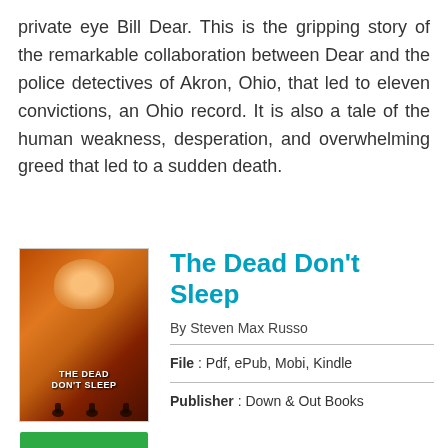private eye Bill Dear. This is the gripping story of the remarkable collaboration between Dear and the police detectives of Akron, Ohio, that led to eleven convictions, an Ohio record. It is also a tale of the human weakness, desperation, and overwhelming greed that led to a sudden death.
[Figure (illustration): Book cover for 'The Dead Don't Sleep' by Steven Max Russo, showing a dark orange/red background with a skull-like shape and silhouetted figures at the bottom.]
The Dead Don't Sleep
By Steven Max Russo
File : Pdf, ePub, Mobi, Kindle
Publisher : Down & Out Books
[Figure (other): Green READ PDF button]